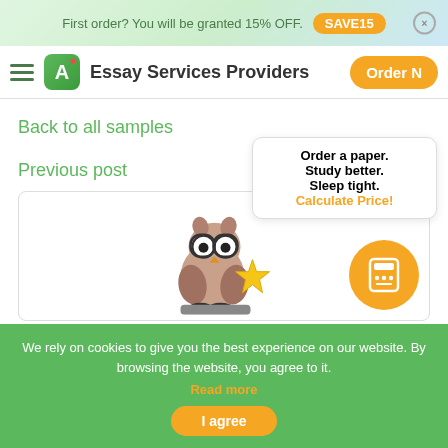First order? You will be granted 15% OFF.  SAVE15  ×
Essay Services Providers  Order N
Back to all samples
Previous post
[Figure (illustration): Owl mascot holding a gold star, with glasses, sitting on a book. Orange calculator icon circle to the right.]
Order a paper.
Study better.
Sleep tight.
Calculate Price!
We rely on cookies to give you the best experience on our website. By browsing the website, you agree to it.
Read more
I agree